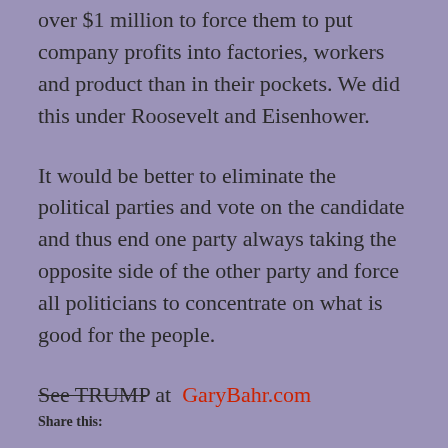over $1 million to force them to put company profits into factories, workers and product than in their pockets. We did this under Roosevelt and Eisenhower.
It would be better to eliminate the political parties and vote on the candidate and thus end one party always taking the opposite side of the other party and force all politicians to concentrate on what is good for the people.
See TRUMP at  GaryBahr.com
Share this: